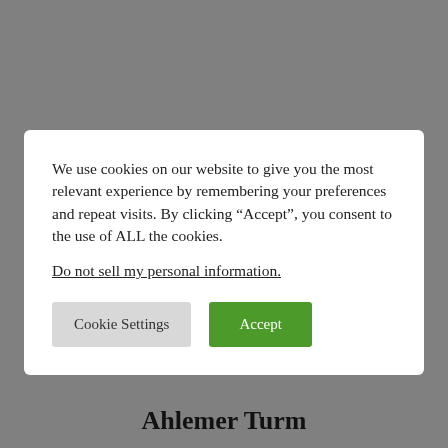We use cookies on our website to give you the most relevant experience by remembering your preferences and repeat visits. By clicking “Accept”, you consent to the use of ALL the cookies.
Do not sell my personal information.
Cookie Settings
Accept
Ahlemer Turm